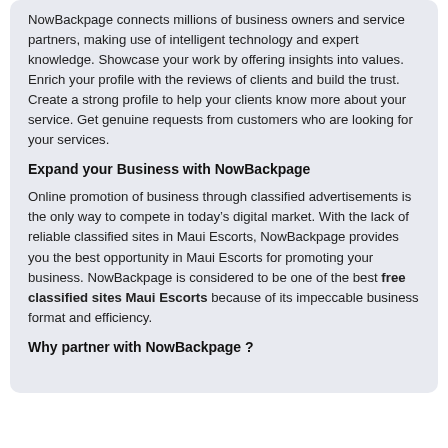NowBackpage connects millions of business owners and service partners, making use of intelligent technology and expert knowledge. Showcase your work by offering insights into values. Enrich your profile with the reviews of clients and build the trust. Create a strong profile to help your clients know more about your service. Get genuine requests from customers who are looking for your services.
Expand your Business with NowBackpage
Online promotion of business through classified advertisements is the only way to compete in today's digital market. With the lack of reliable classified sites in Maui Escorts, NowBackpage provides you the best opportunity in Maui Escorts for promoting your business. NowBackpage is considered to be one of the best free classified sites Maui Escorts because of its impeccable business format and efficiency.
Why partner with NowBackpage ?